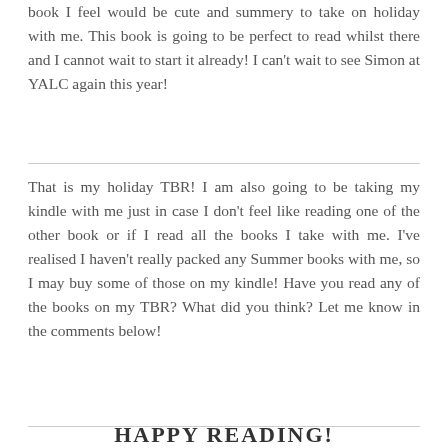book I feel would be cute and summery to take on holiday with me. This book is going to be perfect to read whilst there and I cannot wait to start it already! I can't wait to see Simon at YALC again this year!
That is my holiday TBR! I am also going to be taking my kindle with me just in case I don't feel like reading one of the other book or if I read all the books I take with me. I've realised I haven't really packed any Summer books with me, so I may buy some of those on my kindle! Have you read any of the books on my TBR? What did you think? Let me know in the comments below!
HAPPY READING!